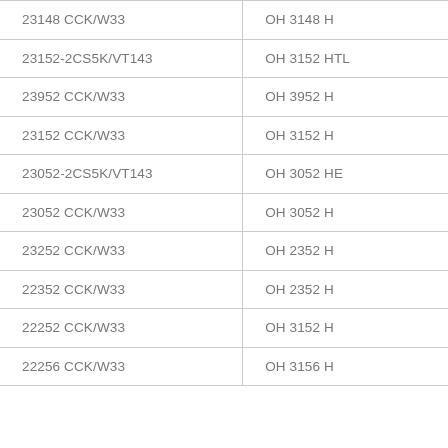| 23148 CCK/W33 | OH 3148 H |
| 23152-2CS5K/VT143 | OH 3152 HTL |
| 23952 CCK/W33 | OH 3952 H |
| 23152 CCK/W33 | OH 3152 H |
| 23052-2CS5K/VT143 | OH 3052 HE |
| 23052 CCK/W33 | OH 3052 H |
| 23252 CCK/W33 | OH 2352 H |
| 22352 CCK/W33 | OH 2352 H |
| 22252 CCK/W33 | OH 3152 H |
| 22256 CCK/W33 | OH 3156 H |